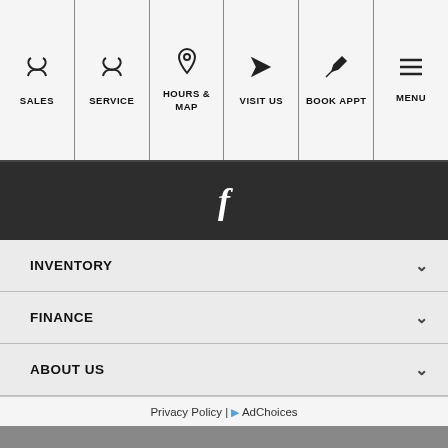SALES | SERVICE | HOURS & MAP | VISIT US | BOOK APPT | MENU
[Figure (other): Dark bar with Facebook 'f' icon in white]
INVENTORY
FINANCE
ABOUT US
Privacy Policy | AdChoices
Dealer Log In
[Figure (other): Accessibility icon button (blue background, person with circle icon)]